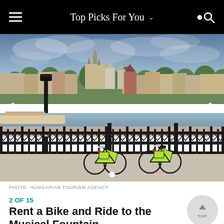Top Picks For You
[Figure (photo): Budapest cityscape with Matthias Church and Fisherman's Bastion on Buda Castle Hill, viewed from the Danube riverbank. Two bright yellow-green rental bikes are parked in front of ornate iron railings in the foreground.]
PHOTO: HUNGARIAN TOURISM AGENCY
2 OF 15
Rent a Bike and Ride to the Musical Fountain